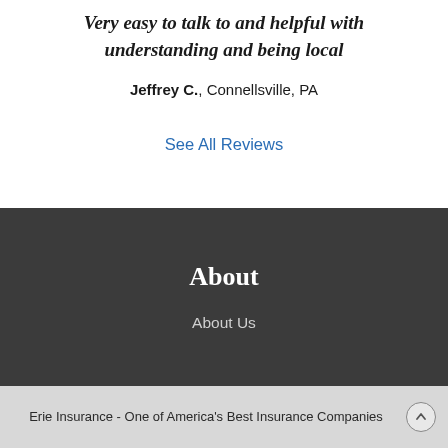Very easy to talk to and helpful with understanding and being local
Jeffrey C., Connellsville, PA
See All Reviews
About
About Us
Erie Insurance - One of America's Best Insurance Companies